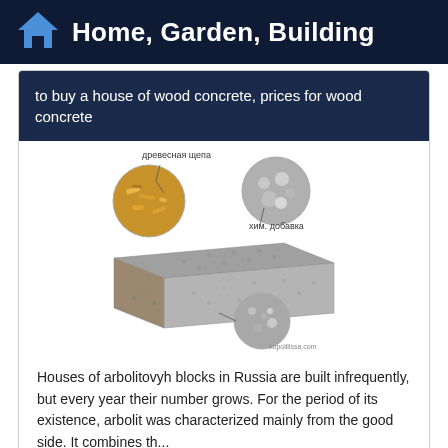Home, Garden, Building
to buy a house of wood concrete, prices for wood concrete
[Figure (illustration): Diagram of an arbolit (wood concrete) block showing its components: wood chips (древесная щепа) on top left, chemical additive (хим. добавка) on top right, and a bottom circle showing the composite material. The block is shown as a grey-brown rectangular solid. Watermark: kopolilissa.com]
Houses of arbolitovyh blocks in Russia are built infrequently, but every year their number grows. For the period of its existence, arbolit was characterized mainly from the good side. It combines th...
Read More →